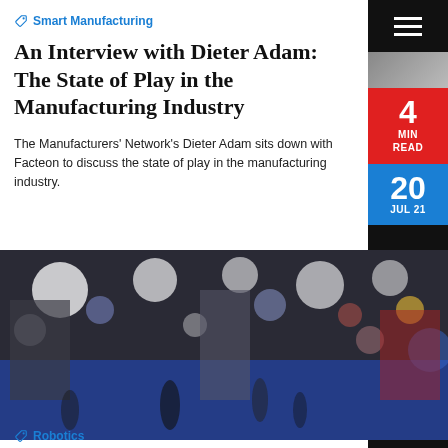Smart Manufacturing
An Interview with Dieter Adam: The State of Play in the Manufacturing Industry
The Manufacturers' Network's Dieter Adam sits down with Facteon to discuss the state of play in the manufacturing industry.
[Figure (photo): Blurred photo of a busy manufacturing or trade show exhibition hall with blue floor, bright bokeh lights, and crowds of people walking between booths]
Robotics